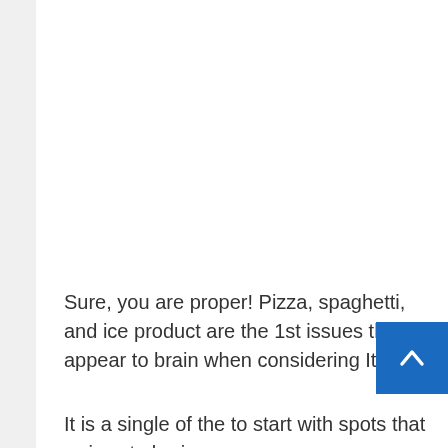Sure, you are proper! Pizza, spaghetti, and ice product are the 1st issues that appear to brain when considering Italy.
It is a single of the to start with spots that arrives to brain